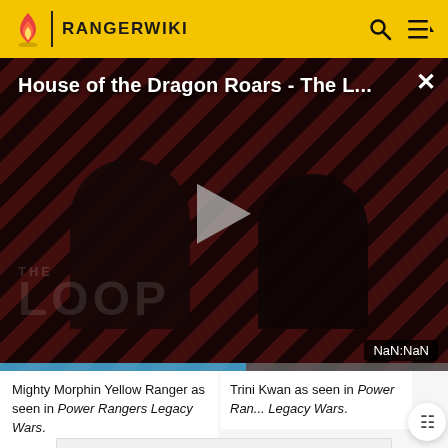RANGERWIKI
[Figure (screenshot): Video player overlay showing 'House of the Dragon Roars - The L...' with red/dark diagonal stripe background, two person silhouettes, play button, THE LOOP watermark, and NaN:NaN timer badge]
Mighty Morphin Yellow Ranger as seen in Power Rangers Legacy Wars.
Trini Kwan as seen in Power Rangers Legacy Wars.